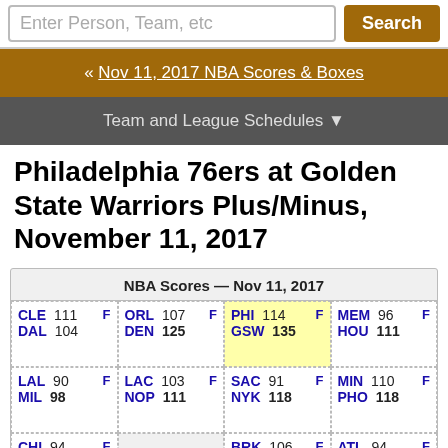Enter Person, Team, etc | Search
« Nov 11, 2017 NBA Scores & Boxes
Team and League Schedules ▼
Philadelphia 76ers at Golden State Warriors Plus/Minus, November 11, 2017
| Team | Score | F | Team | Score | F | Team | Score | F | Team | Score | F |
| --- | --- | --- | --- | --- | --- | --- | --- | --- | --- | --- | --- |
| CLE 111 F | DAL 104 | ORL 107 F | DEN 125 | PHI 114 F | GSW 135 | MEM 96 F | HOU 111 |
| LAL 90 F | MIL 98 | LAC 103 F | NOP 111 | SAC 91 F | NYK 118 | MIN 110 F | PHO 118 |
| CHI 94 F | SAS 133 |  |  | BRK 106 F | UTA 114 | ATL 94 F | WAS 113 |